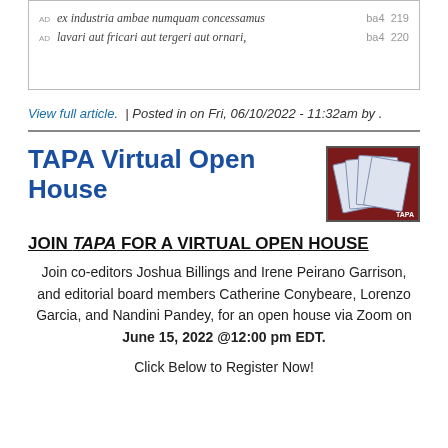[Figure (screenshot): Box containing Latin text lines with tags: 'AD ex industria ambae numquam concessamus ba4 219' and 'AD lavari aut fricari aut tergeri aut ornari, ba4 220', with partial third line cut off]
View full article. | Posted in on Fri, 06/10/2022 - 11:32am by .
TAPA Virtual Open House
[Figure (photo): TAPA logo showing a stack of cards/documents with blue borders on a dark red background]
JOIN TAPA FOR A VIRTUAL OPEN HOUSE
Join co-editors Joshua Billings and Irene Peirano Garrison, and editorial board members Catherine Conybeare, Lorenzo Garcia, and Nandini Pandey, for an open house via Zoom on June 15, 2022 @12:00 pm EDT.
Click Below to Register Now!